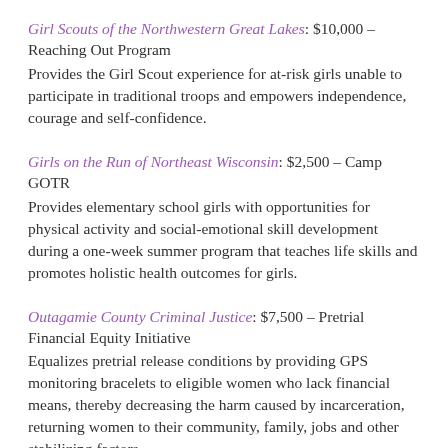Girl Scouts of the Northwestern Great Lakes: $10,000 – Reaching Out Program
Provides the Girl Scout experience for at-risk girls unable to participate in traditional troops and empowers independence, courage and self-confidence.
Girls on the Run of Northeast Wisconsin: $2,500 – Camp GOTR
Provides elementary school girls with opportunities for physical activity and social-emotional skill development during a one-week summer program that teaches life skills and promotes holistic health outcomes for girls.
Outagamie County Criminal Justice: $7,500 – Pretrial Financial Equity Initiative
Equalizes pretrial release conditions by providing GPS monitoring bracelets to eligible women who lack financial means, thereby decreasing the harm caused by incarceration, returning women to their community, family, jobs and other stabilizing factors.